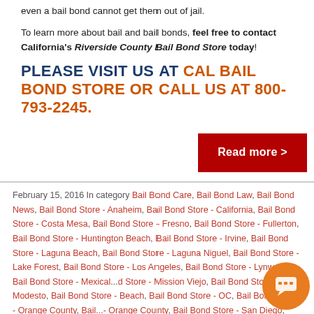even a bail bond cannot get them out of jail.
To learn more about bail and bail bonds, feel free to contact California's Riverside County Bail Bond Store today!
PLEASE VISIT US AT CAL BAIL BOND STORE OR CALL US AT 800-793-2245.
Read more >
February 15, 2016 In category Bail Bond Care, Bail Bond Law, Bail Bond News, Bail Bond Store - Anaheim, Bail Bond Store - California, Bail Bond Store - Costa Mesa, Bail Bond Store - Fresno, Bail Bond Store - Fullerton, Bail Bond Store - Huntington Beach, Bail Bond Store - Irvine, Bail Bond Store - Laguna Beach, Bail Bond Store - Laguna Niguel, Bail Bond Store - Lake Forest, Bail Bond Store - Los Angeles, Bail Bond Store - Lynwood, Bail Bond Store - Mexicali, Bail Bond Store - Mission Viejo, Bail Bond Store - Modesto, Bail Bond Store - ... Beach, Bail Bond Store - OC, Bail Bond Store - Orange County, Bail ... - Orange County, Bail Bond Store - San Diego, Bail Bond Store - Tustin,